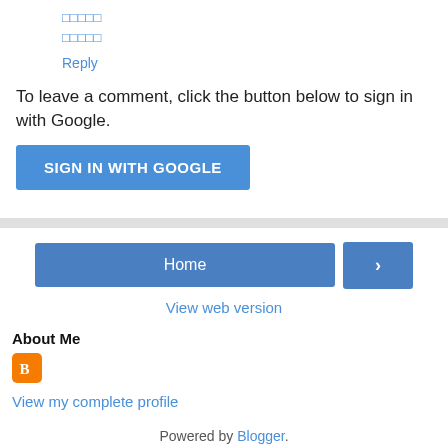□□□□□
□□□□□
Reply
To leave a comment, click the button below to sign in with Google.
[Figure (other): SIGN IN WITH GOOGLE button]
[Figure (other): Home button and next arrow button navigation]
View web version
About Me
[Figure (logo): Blogger orange logo icon]
View my complete profile
Powered by Blogger.